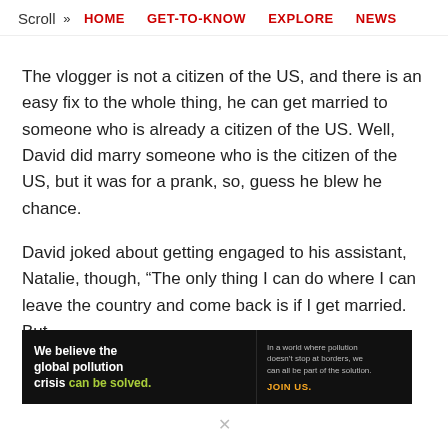Scroll >> HOME  GET-TO-KNOW  EXPLORE  NEWS
The vlogger is not a citizen of the US, and there is an easy fix to the whole thing, he can get married to someone who is already a citizen of the US. Well, David did marry someone who is the citizen of the US, but it was for a prank, so, guess he blew he chance.
David joked about getting engaged to his assistant, Natalie, though, “The only thing I can do where I can leave the country and come back is if I get married. But
[Figure (other): Pure Earth advertisement banner: black background with text 'We believe the global pollution crisis can be solved.' and 'In a world where pollution doesn't stop at borders, we can all be part of the solution. JOIN US.' with Pure Earth logo on right.]